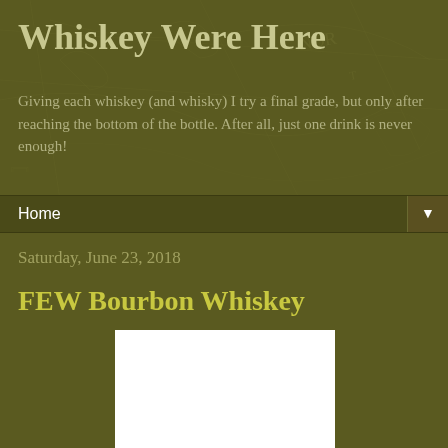Whiskey Were Here
Giving each whiskey (and whisky) I try a final grade, but only after reaching the bottom of the bottle. After all, just one drink is never enough!
Home ▼
Saturday, June 23, 2018
FEW Bourbon Whiskey
[Figure (photo): White rectangular image placeholder/photo area for FEW Bourbon Whiskey]